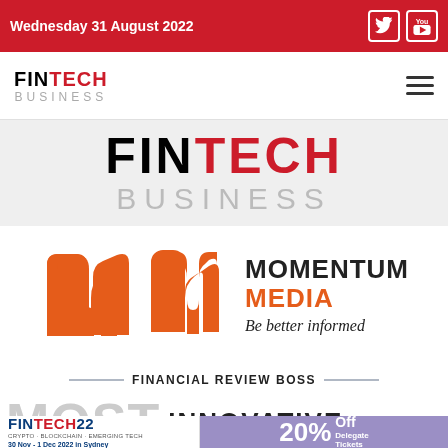Wednesday 31 August 2022
[Figure (logo): FINTECH BUSINESS logo in nav bar]
[Figure (logo): FINTECH BUSINESS large hero banner logo]
[Figure (logo): Momentum Media logo with orange M icon and tagline Be better informed]
[Figure (logo): Financial Review BOSS - MOST INNOVATIVE banner with FINTECH22 and 20% Off Delegate Tickets]
FINANCIAL REVIEW BOSS
MOST INNOVATIVE
FINTECH22 CRYPTO · BLOCKCHAIN · EMERGING TECH 30 Nov - 1 Dec 2022 in Sydney
20% Off Delegate Tickets